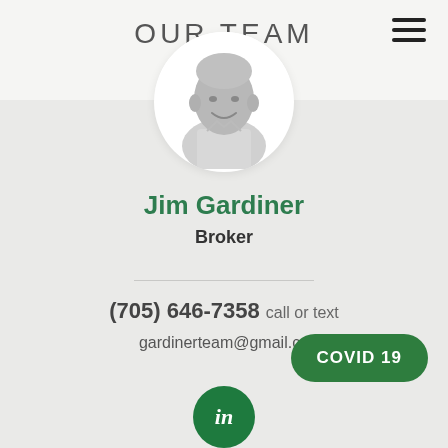OUR TEAM
[Figure (photo): Circular grayscale headshot of Jim Gardiner, an older man with white hair, smiling, wearing a light-colored shirt]
Jim Gardiner
Broker
(705) 646-7358 call or text
gardinerteam@gmail.co
COVID 19
[Figure (logo): LinkedIn icon button in green circle with 'in' text]